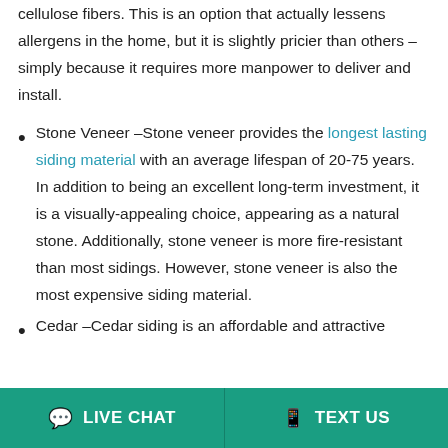cellulose fibers. This is an option that actually lessens allergens in the home, but it is slightly pricier than others – simply because it requires more manpower to deliver and install.
Stone Veneer –Stone veneer provides the longest lasting siding material with an average lifespan of 20-75 years. In addition to being an excellent long-term investment, it is a visually-appealing choice, appearing as a natural stone. Additionally, stone veneer is more fire-resistant than most sidings. However, stone veneer is also the most expensive siding material.
Cedar –Cedar siding is an affordable and attractive
LIVE CHAT   TEXT US